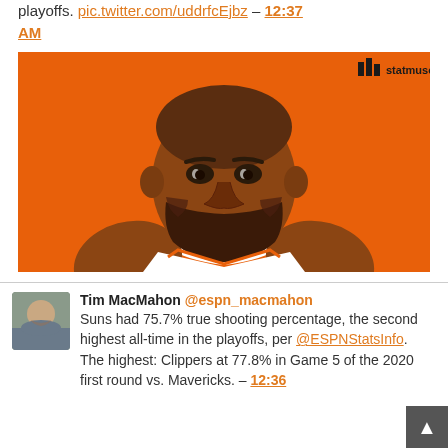playoffs. pic.twitter.com/uddrfcEjbz – 12:37 AM
[Figure (illustration): Statmuse illustrated portrait of a basketball player (Chris Paul) in Phoenix Suns orange and white uniform on orange background, with statmuse logo in top right corner]
Tim MacMahon @espn_macmahon Suns had 75.7% true shooting percentage, the second highest all-time in the playoffs, per @ESPNStatsInfo. The highest: Clippers at 77.8% in Game 5 of the 2020 first round vs. Mavericks. – 12:36